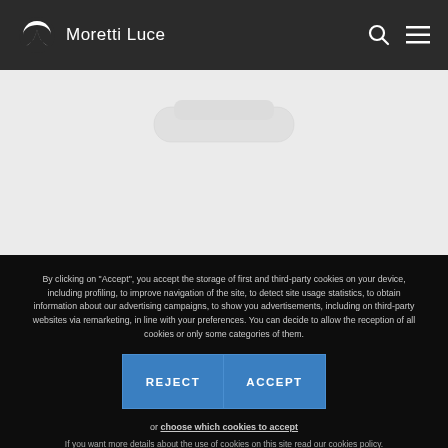Moretti Luce
[Figure (photo): Partial view of a white cylindrical light fixture on a light grey background]
By clicking on "Accept", you accept the storage of first and third-party cookies on your device, including profiling, to improve navigation of the site, to detect site usage statistics, to obtain information about our advertising campaigns, to show you advertisements, including on third-party websites via remarketing, in line with your preferences. You can decide to allow the reception of all cookies or only some categories of them.
REJECT
ACCEPT
or choose which cookies to accept
If you want more details about the use of cookies on this site read our cookies policy.
VAT N. 01611160985